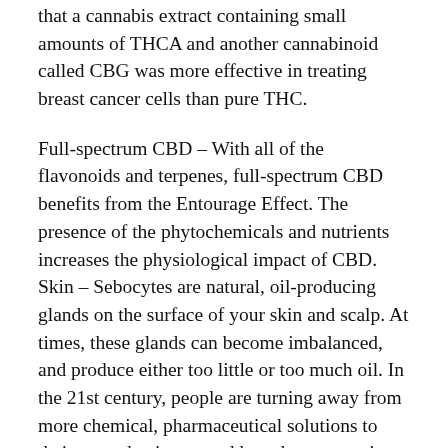that a cannabis extract containing small amounts of THCA and another cannabinoid called CBG was more effective in treating breast cancer cells than pure THC.
Full-spectrum CBD – With all of the flavonoids and terpenes, full-spectrum CBD benefits from the Entourage Effect. The presence of the phytochemicals and nutrients increases the physiological impact of CBD. Skin – Sebocytes are natural, oil-producing glands on the surface of your skin and scalp. At times, these glands can become imbalanced, and produce either too little or too much oil. In the 21st century, people are turning away from more chemical, pharmaceutical solutions to their everyday issues and have been returning to their roots – plant-based botanicals. Users tout CBD's ability to help them manage everyday stresses, decrease irritability and inflammation, and may ease